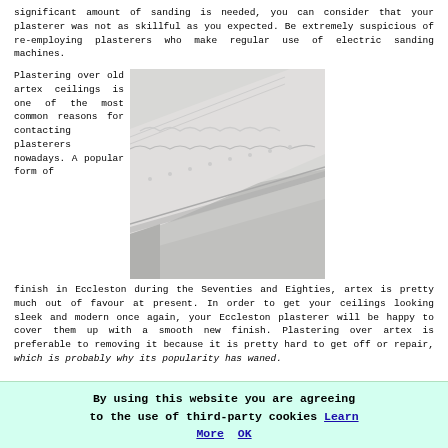significant amount of sanding is needed, you can consider that your plasterer was not as skillful as you expected. Be extremely suspicious of re-employing plasterers who make regular use of electric sanding machines.
Plastering over old artex ceilings is one of the most common reasons for contacting plasterers nowadays. A popular form of finish in Eccleston during the Seventies and Eighties, artex is pretty much out of favour at present. In order to get your ceilings looking sleek and modern once again, your Eccleston plasterer will be happy to cover them up with a smooth new finish. Plastering over artex is preferable to removing it because it is pretty hard to get off or repair, which is probably why its popularity has waned.
[Figure (photo): Close-up photo of decorative white plaster crown moulding at the corner of a ceiling, showing ornate relief patterns and smooth white surfaces.]
By using this website you are agreeing to the use of third-party cookies Learn More OK